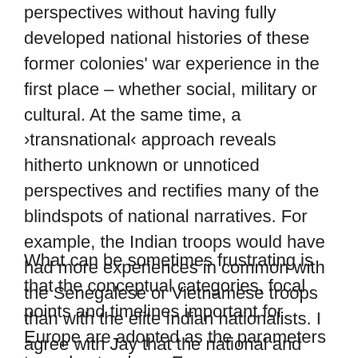perspectives without having fully developed national histories of these former colonies' war experience in the first place – whether social, military or cultural. At the same time, a ›transnational‹ approach reveals hitherto unknown or unnoticed perspectives and rectifies many of the blindspots of national narratives. For example, the Indian troops would have had more experiences in common with the Senegalese or Vietnamese troops than with the elite Indian nationalists. I agree with Jay that the national and transnational approaches are compatible and can illuminate each other more fully.
What can be sometimes frustrating is that the conceptual categories, focal points and timelines important for Europe are adopted as the parameters to understand non-European war experiences. Rather than just investigating the well-known battles and trying to find for instance